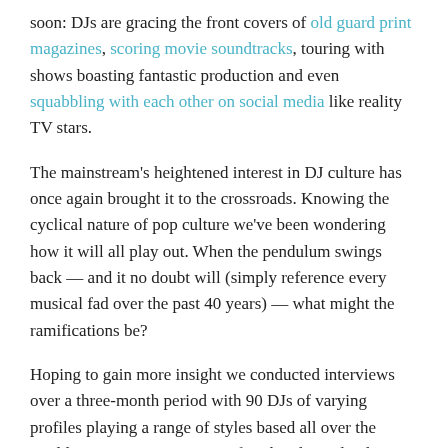soon: DJs are gracing the front covers of old guard print magazines, scoring movie soundtracks, touring with shows boasting fantastic production and even squabbling with each other on social media like reality TV stars.
The mainstream's heightened interest in DJ culture has once again brought it to the crossroads. Knowing the cyclical nature of pop culture we've been wondering how it will all play out. When the pendulum swings back — and it no doubt will (simply reference every musical fad over the past 40 years) — what might the ramifications be?
Hoping to gain more insight we conducted interviews over a three-month period with 90 DJs of varying profiles playing a range of styles based all over the world. Our intent was to get a first-hand, unedited view about the state of DJ culture in 2012 from those who make their living in the DJ booth. We asked each DJ the same three questions: Where do they see the culture? What are its most disturbing trends? How are we going to make the global scene better? The comments (listed in alphabetical order below), like any quality DJ set, were